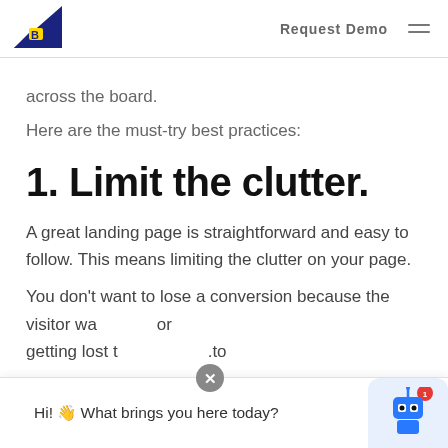Request Demo
across the board.
Here are the must-try best practices:
1. Limit the clutter.
A great landing page is straightforward and easy to follow. This means limiting the clutter on your page.
You don't want to lose a conversion because the visitor was... or getting lost t... .to
Hi! 👋 What brings you here today?